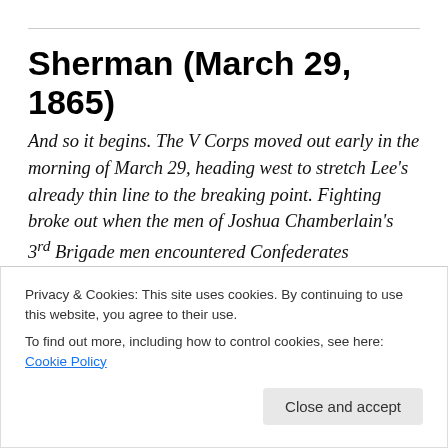Sherman (March 29, 1865)
And so it begins. The V Corps moved out early in the morning of March 29, heading west to stretch Lee's already thin line to the breaking point. Fighting broke out when the men of Joshua Chamberlain's 3rd Brigade men encountered Confederates entrenched along the Quaker Road. Among the defenders were the command of Henry Wise—former Virginia governor and Meade's brother-in-
Privacy & Cookies: This site uses cookies. By continuing to use this website, you agree to their use.
To find out more, including how to control cookies, see here: Cookie Policy